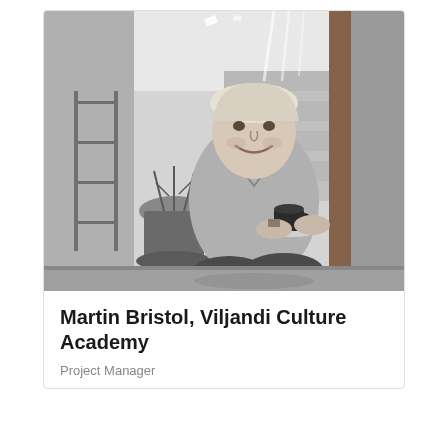[Figure (photo): Black and white photograph of a young man with light hair, smiling, sitting on steps outdoors holding a cup and saucer. There is a metal shelving structure to his left, potted plants, and a rustic building or wall behind him.]
Martin Bristol, Viljandi Culture Academy
Project Manager